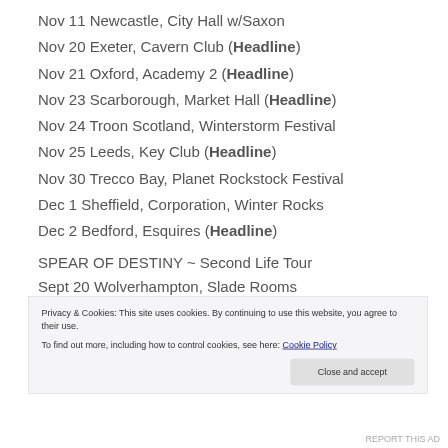Nov 11 Newcastle, City Hall w/Saxon
Nov 20 Exeter, Cavern Club (Headline)
Nov 21 Oxford, Academy 2 (Headline)
Nov 23 Scarborough, Market Hall (Headline)
Nov 24 Troon Scotland, Winterstorm Festival
Nov 25 Leeds, Key Club (Headline)
Nov 30 Trecco Bay, Planet Rockstock Festival
Dec 1 Sheffield, Corporation, Winter Rocks
Dec 2 Bedford, Esquires (Headline)
SPEAR OF DESTINY ~ Second Life Tour
Sept 20 Wolverhampton, Slade Rooms
Sept 21 Huddersfield, The Parish
Sept 22 Cleethorpes, Moon On The Water
Privacy & Cookies: This site uses cookies. By continuing to use this website, you agree to their use. To find out more, including how to control cookies, see here: Cookie Policy
REPORT THIS AD